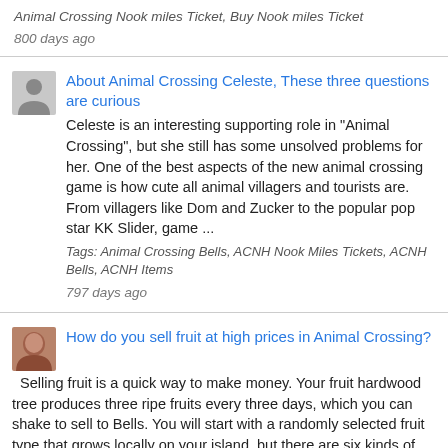Animal Crossing Nook miles Ticket, Buy Nook miles Ticket
800 days ago
About Animal Crossing Celeste, These three questions are curious
Celeste is an interesting supporting role in "Animal Crossing", but she still has some unsolved problems for her. One of the best aspects of the new animal crossing game is how cute all animal villagers and tourists are. From villagers like Dom and Zucker to the popular pop star KK Slider, game ...
Tags: Animal Crossing Bells, ACNH Nook Miles Tickets, ACNH Bells, ACNH Items
797 days ago
How do you sell fruit at high prices in Animal Crossing?
Selling fruit is a quick way to make money. Your fruit hardwood tree produces three ripe fruits every three days, which you can shake to sell to Bells. You will start with a randomly selected fruit type that grows locally on your island, but there are six kinds of fruits in the game: appl...